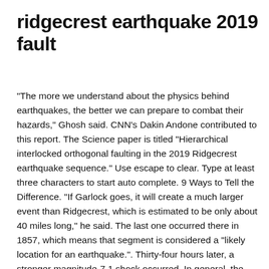ridgecrest earthquake 2019 fault
"The more we understand about the physics behind earthquakes, the better we can prepare to combat their hazards," Ghosh said. CNN's Dakin Andone contributed to this report. The Science paper is titled "Hierarchical interlocked orthogonal faulting in the 2019 Ridgecrest earthquake sequence." Use escape to clear. Type at least three characters to start auto complete. 9 Ways to Tell the Difference. "If Garlock goes, it will create a much larger event than Ridgecrest, which is estimated to be only about 40 miles long," he said. The last one occurred there in 1857, which means that segment is considered a "likely location for an earthquake.". Thirty-four hours later, a stronger magnitude-7.1 shock occurred. In general, the 2019 Ridgecrest earthquake sequence was triggered by past historical earthquakes. RIDGECREST, CALIFORNIA - JULY 04: A crack stretches across the road after a 6.4 magnitude earthquake struck the area on July 4, 2019 near Ridgecrest, California. More by B...